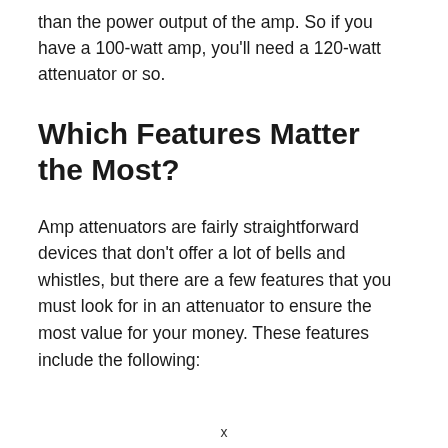than the power output of the amp. So if you have a 100-watt amp, you'll need a 120-watt attenuator or so.
Which Features Matter the Most?
Amp attenuators are fairly straightforward devices that don't offer a lot of bells and whistles, but there are a few features that you must look for in an attenuator to ensure the most value for your money. These features include the following:
x